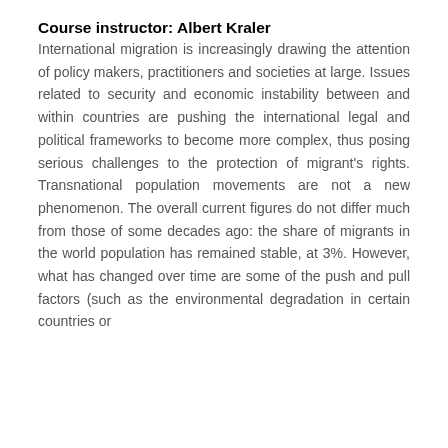Course instructor: Albert Kraler
International migration is increasingly drawing the attention of policy makers, practitioners and societies at large. Issues related to security and economic instability between and within countries are pushing the international legal and political frameworks to become more complex, thus posing serious challenges to the protection of migrant's rights. Transnational population movements are not a new phenomenon. The overall current figures do not differ much from those of some decades ago: the share of migrants in the world population has remained stable, at 3%. However, what has changed over time are some of the push and pull factors (such as the environmental degradation in certain countries or